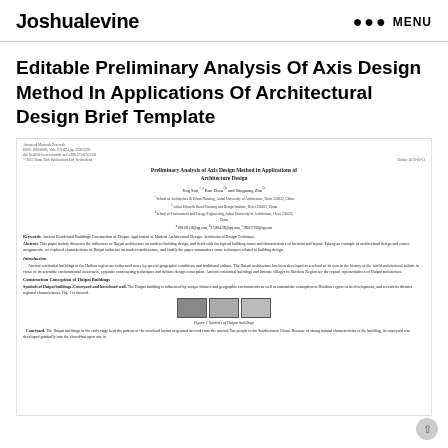Joshualevine   ••• MENU
Editable Preliminary Analysis Of Axis Design Method In Applications Of Architectural Design Brief Template
[Figure (screenshot): Thumbnail preview of an academic journal article titled 'Preliminary Analysis of Axis Design Method in Applications of Architecture Design' by Jing Sun, Kun Zhou and Shuguang Zhu, with journal info, affiliations, abstract, keywords, introduction, section on Construction Conception of Huipai Buildings, and a figure showing symbols of Huipu buildings including courtyard images.]